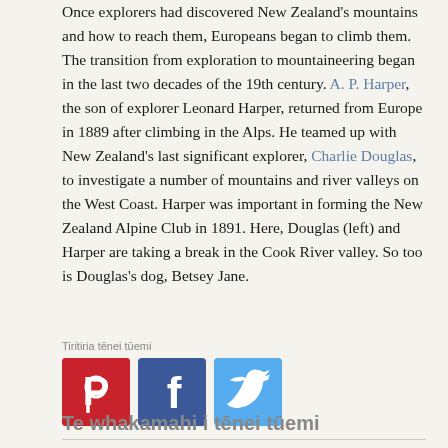Once explorers had discovered New Zealand's mountains and how to reach them, Europeans began to climb them. The transition from exploration to mountaineering began in the last two decades of the 19th century. A. P. Harper, the son of explorer Leonard Harper, returned from Europe in 1889 after climbing in the Alps. He teamed up with New Zealand's last significant explorer, Charlie Douglas, to investigate a number of mountains and river valleys on the West Coast. Harper was important in forming the New Zealand Alpine Club in 1891. Here, Douglas (left) and Harper are taking a break in the Cook River valley. So too is Douglas's dog, Betsey Jane.
Tiritiria tēnei tūemi
[Figure (infographic): Three social media share buttons: Pinterest (red), Facebook (blue), Twitter (light blue)]
Te whakamahi i tēnei tūemi